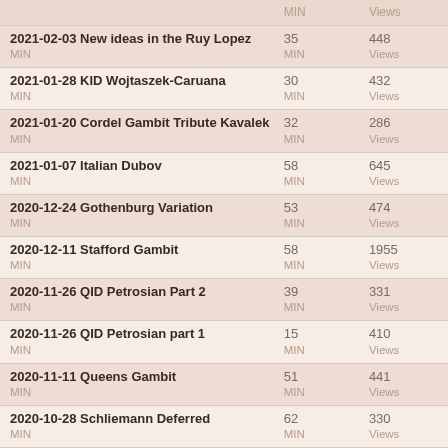|  | MIN | Views |
| --- | --- | --- |
| 2021-02-03 New ideas in the Ruy Lopez | 35 MIN | 448 Views |
| 2021-01-28 KID Wojtaszek-Caruana | 30 MIN | 432 Views |
| 2021-01-20 Cordel Gambit Tribute Kavalek | 32 MIN | 286 Views |
| 2021-01-07 Italian Dubov | 58 MIN | 645 Views |
| 2020-12-24 Gothenburg Variation | 53 MIN | 474 Views |
| 2020-12-11 Stafford Gambit | 58 MIN | 1955 Views |
| 2020-11-26 QID Petrosian Part 2 | 39 MIN | 331 Views |
| 2020-11-26 QID Petrosian part 1 | 15 MIN | 410 Views |
| 2020-11-11 Queens Gambit | 51 MIN | 441 Views |
| 2020-10-28 Schliemann Deferred | 62 MIN | 330 Views |